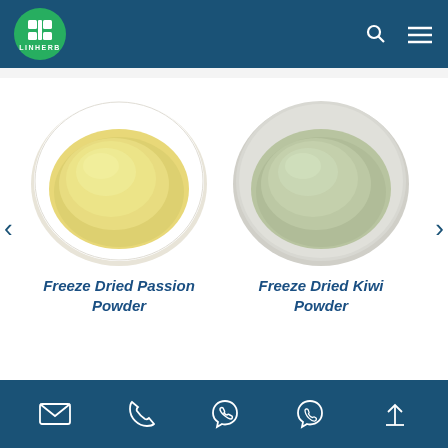[Figure (logo): LINHERB green circular logo with stylized plant/grid icon, white text LINHERB below, on dark blue header bar with search and menu icons top right]
[Figure (photo): White ceramic plate/bowl filled with pale yellow freeze-dried passion powder, viewed from above]
[Figure (photo): White ceramic plate/bowl filled with pale green freeze-dried kiwi powder, viewed from above]
Freeze Dried Passion Powder
Freeze Dried Kiwi Powder
[Figure (infographic): Dark blue footer bar with five contact icons: email envelope, phone handset, Viber/call icon, WhatsApp icon, and back-to-top arrow]